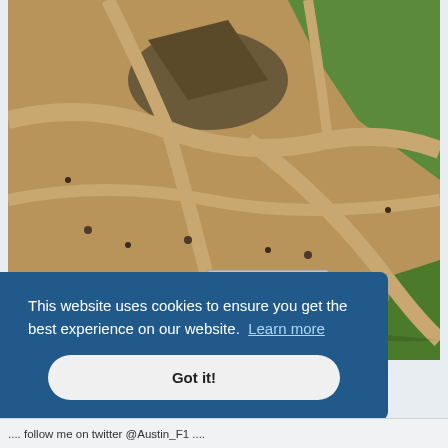[Figure (photo): Aerial photograph of a large construction site showing earthworks, dirt roads, partially built structures, and green fields at the periphery. Shot from above at an angle.]
This website uses cookies to ensure you get the best experience on our website. Learn more
Got it!
.... follow me on twitter @Austin_F1 ....